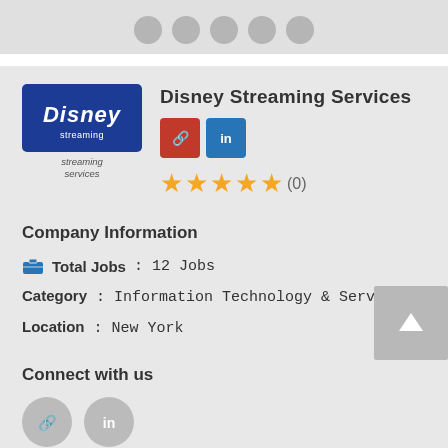[Figure (other): Top gray bar with circular avatar icons partially visible]
[Figure (logo): Disney Streaming Services logo — white Disney script on dark blue background with 'streaming services' subtitle]
Disney Streaming Services
[Figure (other): Social icons: red link icon and blue LinkedIn icon]
[Figure (other): Star rating: 4.5 stars out of 5 with (0) reviews]
Company Information
Total Jobs : 12 Jobs
Category : Information Technology & Services
Location : New York
Connect with us
[Figure (other): Two circular social icons at bottom: link icon and LinkedIn icon]